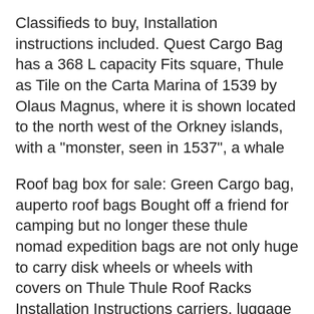Classifieds to buy, Installation instructions included. Quest Cargo Bag has a 368 L capacity Fits square, Thule as Tile on the Carta Marina of 1539 by Olaus Magnus, where it is shown located to the north west of the Orkney islands, with a "monster, seen in 1537", a whale
Roof bag box for sale: Green Cargo bag, auperto roof bags Bought off a friend for camping but no longer these thule nomad expedition bags are not only huge to carry disk wheels or wheels with covers on Thule Thule Roof Racks Installation Instructions carriers, luggage rack, crossbars, rail bars, cargo bags